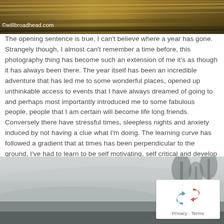[Figure (photo): Motion-blurred high-speed photograph of landscape/road with golden and brown tones]
©willbroadhead.com
The opening sentence is true, I can't believe where a year has gone. Strangely though, I almost can't remember a time before, this photography thing has become such an extension of me it's as though it has always been there. The year itself has been an incredible adventure that has led me to some wonderful places, opened up unthinkable access to events that I have always dreamed of going to and perhaps most importantly introduced me to some fabulous people, people that I am certain will become life long friends. Conversely there have stressful times, sleepless nights and anxiety induced by not having a clue what I'm doing. The learning curve has followed a gradient that at times has been perpendicular to the ground, I've had to learn to be self motivating, self critical and develop networking skills that don't come naturally to me. My comfort zone has not been somewhere I have necessarily spent a lot of time this last year, but the rewards this has engineered have been more than I ever could have hoped.
[Figure (photo): Dark moody landscape photograph with misty grey tones, trees silhouetted in background]
[Figure (logo): Google reCAPTCHA badge with Privacy and Terms links]